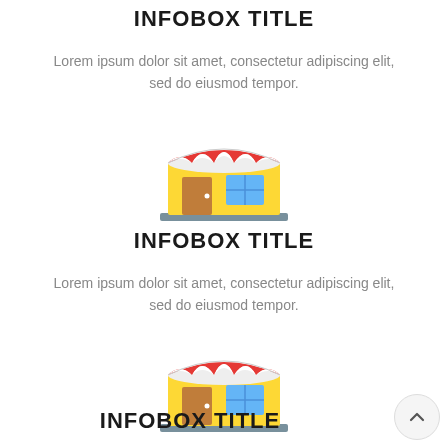INFOBOX TITLE
Lorem ipsum dolor sit amet, consectetur adipiscing elit, sed do eiusmod tempor.
[Figure (illustration): Flat icon of a small shop/store with red and white striped awning, yellow walls, brown door, and blue window]
INFOBOX TITLE
Lorem ipsum dolor sit amet, consectetur adipiscing elit, sed do eiusmod tempor.
[Figure (illustration): Flat icon of a small shop/store with red and white striped awning, yellow walls, brown door, and blue window]
INFOBOX TITLE